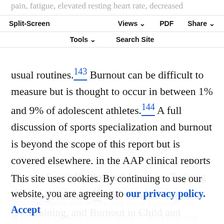pain, fatigue, elevated resting heart rate, decreased sport performance, personality changes, lack of enthusiasm regarding athletic, difficulty completing usual routines.
Split-Screen  Views  PDF  Share  Tools  Search Site
usual routines.[143] Burnout can be difficult to measure but is thought to occur in between 1% and 9% of adolescent athletes.[144] A full discussion of sports specialization and burnout is beyond the scope of this report but is covered elsewhere, in the AAP clinical reports “Sports Specialization and Intensive Training in Young Athletes”[19] and “Overuse Injuries, Overtraining, and Burnout in Child and Adolescent Athletes.”[145] It has been suggested that young athletes participating in
more hours of sport each week than their age in years and those spending more than twice as much time in organized sports than in free play are at increased risk of suffering a serious overuse injury.[146] Kids who start
This site uses cookies. By continuing to use our website, you are agreeing to our privacy policy. Accept